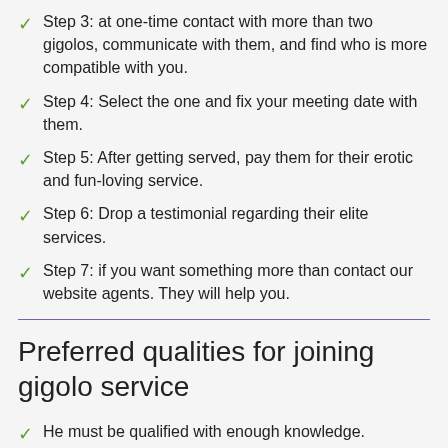Step 3: at one-time contact with more than two gigolos, communicate with them, and find who is more compatible with you.
Step 4: Select the one and fix your meeting date with them.
Step 5: After getting served, pay them for their erotic and fun-loving service.
Step 6: Drop a testimonial regarding their elite services.
Step 7: if you want something more than contact our website agents. They will help you.
Preferred qualities for joining gigolo service
He must be qualified with enough knowledge.
He has a good sense of humor.